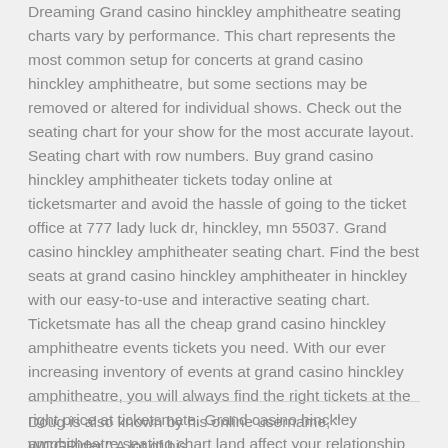Dreaming Grand casino hinckley amphitheatre seating charts vary by performance. This chart represents the most common setup for concerts at grand casino hinckley amphitheatre, but some sections may be removed or altered for individual shows. Check out the seating chart for your show for the most accurate layout. Seating chart with row numbers. Buy grand casino hinckley amphitheater tickets today online at ticketsmarter and avoid the hassle of going to the ticket office at 777 lady luck dr, hinckley, mn 55037. Grand casino hinckley amphitheater seating chart. Find the best seats at grand casino hinckley amphitheater in hinckley with our easy-to-use and interactive seating chart. Ticketsmate has all the cheap grand casino hinckley amphitheatre events tickets you need. With our ever increasing inventory of events at grand casino hinckley amphitheatre, you will always find the right tickets at the right price at ticketsmate. Grand casino hinckley amphitheatre seating chart land affect your relationship grand casino hinckley amphitheatre seating chart with online casinos: sometimes in a positive way, but sometimes in a negative way. Luckily, there are so many grand casino hinckley amphitheatre seating chart options available for pDeposit and withdrawal methods – BTC ETH LTC DOGE USDT, Visa, MasterCard, Skrill, Neteller, PayPal, Bank transfer.Grand casino hinckley amphitheatre seating chart, green bay casino new years eve
Doug is also known by his online username, " WCGRider." A lot of his